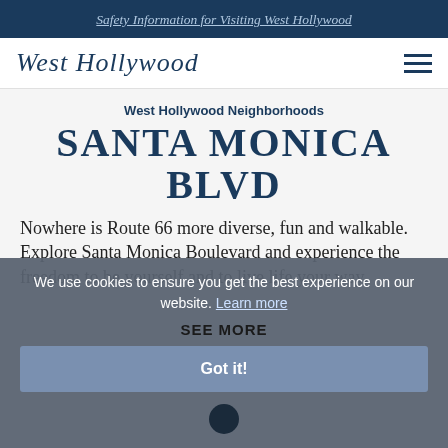Safety Information for Visiting West Hollywood
[Figure (logo): West Hollywood cursive logo with hamburger menu icon]
West Hollywood Neighborhoods
SANTA MONICA BLVD
Nowhere is Route 66 more diverse, fun and walkable. Explore Santa Monica Boulevard and experience the freedom to be yourself and to live life your way.
SEE MORE
We use cookies to ensure you get the best experience on our website. Learn more
Got it!